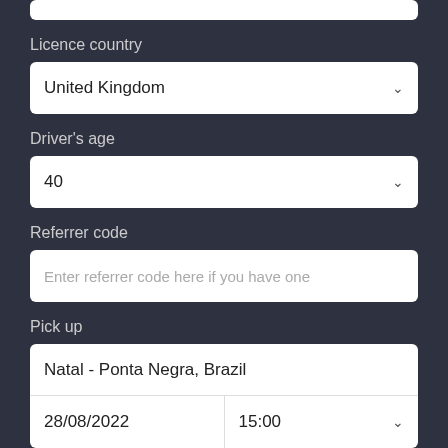Licence country
United Kingdom
Driver's age
40
Referrer code
Enter referrer code here if you have one
Pick up
Natal - Ponta Negra, Brazil
28/08/2022
15:00
Drop off